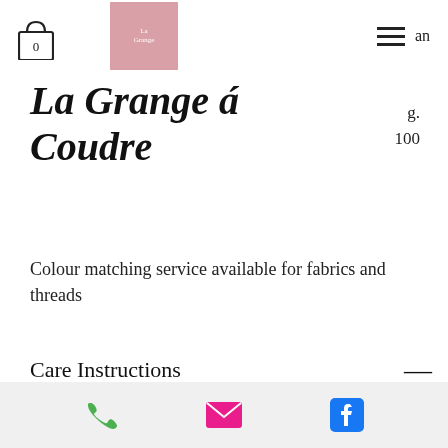0  an
La Grange á Coudre
g.
100
Colour matching service available for fabrics and threads
Care Instructions —
wash before first use to allow for shrinkage (approx 6-7%)
machine washable at 40